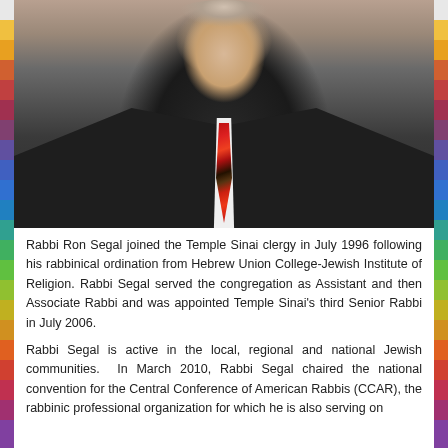[Figure (photo): Professional headshot of Rabbi Ron Segal, a man in a dark suit jacket and white dress shirt with a red and navy striped tie, photographed from the chest up against a neutral background.]
Rabbi Ron Segal joined the Temple Sinai clergy in July 1996 following his rabbinical ordination from Hebrew Union College-Jewish Institute of Religion. Rabbi Segal served the congregation as Assistant and then Associate Rabbi and was appointed Temple Sinai’s third Senior Rabbi in July 2006.
Rabbi Segal is active in the local, regional and national Jewish communities.  In March 2010, Rabbi Segal chaired the national convention for the Central Conference of American Rabbis (CCAR), the rabbinic professional organization for which he is also serving on